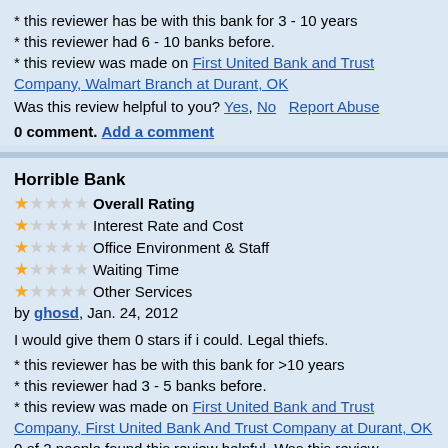* this reviewer has be with this bank for 3 - 10 years
* this reviewer had 6 - 10 banks before.
* this review was made on First United Bank and Trust Company, Walmart Branch at Durant, OK
Was this review helpful to you? Yes, No   Report Abuse
0 comment. Add a comment
Horrible Bank
1 star Overall Rating
1 star Interest Rate and Cost
1 star Office Environment & Staff
1 star Waiting Time
1 star Other Services
by ghosd, Jan. 24, 2012
I would give them 0 stars if i could. Legal thiefs.
* this reviewer has be with this bank for >10 years
* this reviewer had 3 - 5 banks before.
* this review was made on First United Bank and Trust Company, First United Bank And Trust Company at Durant, OK
0 of 2 people found this review helpful. Was this review helpful to you?